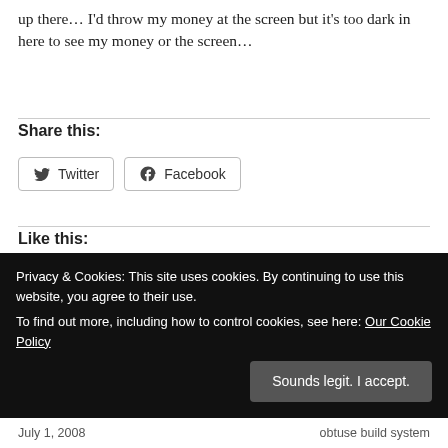up there… I'd throw my money at the screen but it's too dark in here to see my money or the screen…
Share this:
[Figure (other): Twitter and Facebook share buttons with icons]
Like this:
Loading...
Privacy & Cookies: This site uses cookies. By continuing to use this website, you agree to their use. To find out more, including how to control cookies, see here: Our Cookie Policy
Sounds legit. I accept.
July 1, 2008          obtuse build system